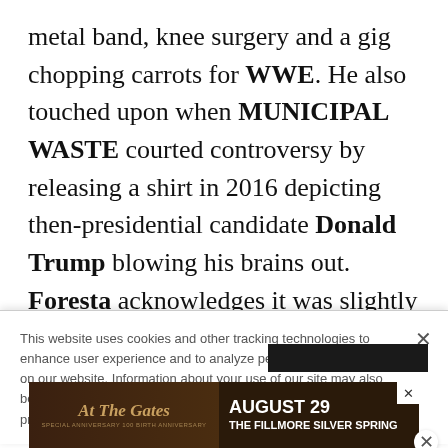metal band, knee surgery and a gig chopping carrots for WWE. He also touched upon when MUNICIPAL WASTE courted controversy by releasing a shirt in 2016 depicting then-presidential candidate Donald Trump blowing his brains out. Foresta acknowledges it was slightly out of character for the band. So now they're back to raging and moshing — and hoping
This website uses cookies and other tracking technologies to enhance user experience and to analyze performance and traffic on our website. Information about your use of our site may also be shared with social media, advertising, retail and analytics providers and partners. Privacy Policy
[Figure (other): Advertisement banner for 'At The Gates' concert on August 29 at The Fillmore Silver Spring]